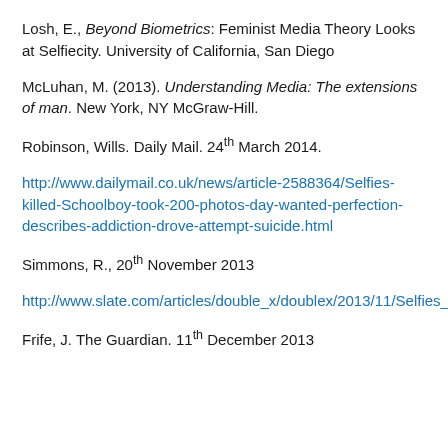Losh, E., Beyond Biometrics: Feminist Media Theory Looks at Selfiecity. University of California, San Diego
McLuhan, M. (2013). Understanding Media: The extensions of man. New York, NY McGraw-Hill.
Robinson, Wills. Daily Mail. 24th March 2014.
http://www.dailymail.co.uk/news/article-2588364/Selfies-killed-Schoolboy-took-200-photos-day-wanted-perfection-describes-addiction-drove-attempt-suicide.html
Simmons, R., 20th November 2013
http://www.slate.com/articles/double_x/doublex/2013/11/Selfies_on_instagram_and_facebook_are_tiny_bursts_of_girl_pride.html
Frife, J. The Guardian. 11th December 2013